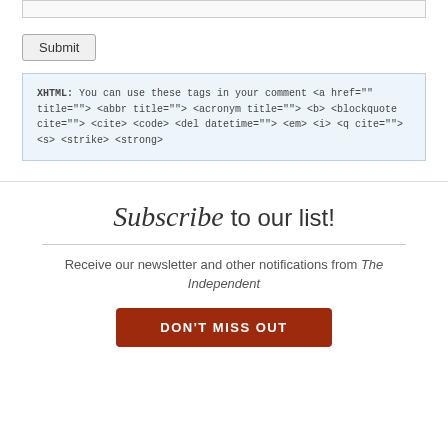[Figure (screenshot): A form input box (text area, partially visible at top)]
Submit
XHTML: You can use these tags in your comment <a href="" title=""> <abbr title=""> <acronym title=""> <b> <blockquote cite=""> <cite> <code> <del datetime=""> <em> <i> <q cite=""> <s> <strike> <strong>
Subscribe to our list!
Receive our newsletter and other notifications from The Independent
Don't Miss Out